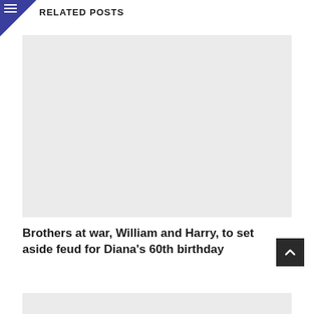RELATED POSTS
[Figure (photo): Large placeholder image for a related post article thumbnail, light gray background]
Brothers at war, William and Harry, to set aside feud for Diana’s 60th birthday
[Figure (photo): Second related post article thumbnail placeholder, light gray background, partially visible at bottom of page]